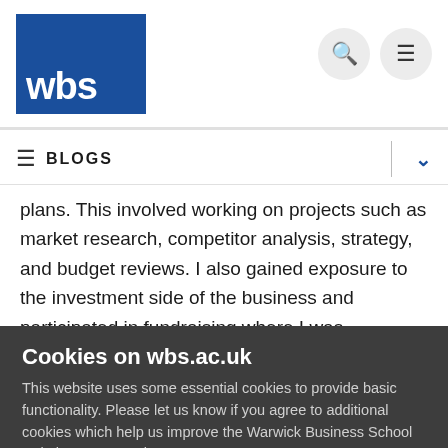[Figure (logo): WBS (Warwick Business School) logo — white 'wbs' text on dark blue background]
BLOGS
plans. This involved working on projects such as market research, competitor analysis, strategy, and budget reviews. I also gained exposure to the investment side of the business and participated in fundraising where I was responsible for
Cookies on wbs.ac.uk
This website uses some essential cookies to provide basic functionality. Please let us know if you agree to additional cookies which help us improve the Warwick Business School website user experience.
Accept additional cookies   Settings